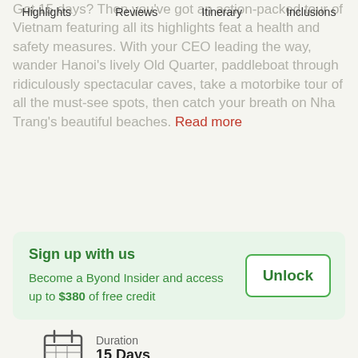Got 15 days? Then you've got an action-packed tour of Vietnam...all its highlights featuring health and safety measures.
Highlights | Reviews | Itinerary | Inclusions
With your CEO leading the way, wander Hanoi's lively Old Quarter, paddleboat through ridiculously spectacular caves, take a motorbike tour of all the must-see spots, then catch your breath on Nha Trang's beautiful beaches. Read more
Sign up with us
Become a Byond Insider and access up to $380 of free credit
Unlock
Duration
15 Days
View Dates & Prices
Starting From
$1,076/person